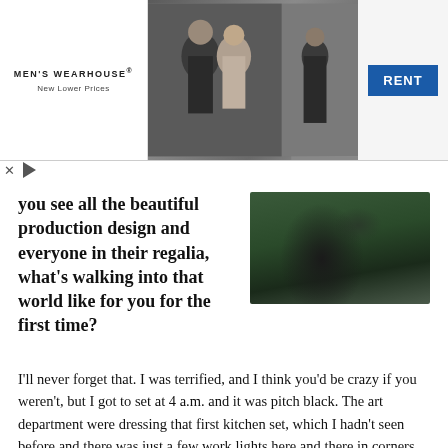[Figure (photo): Men's Wearhouse advertisement banner showing a couple in formal wear (man in dark suit, woman in elegant dress) and a man in a dark suit on the right side, with a blue RENT button]
you see all the beautiful production design and everyone in their regalia, what's walking into that world like for you for the first time?
[Figure (photo): A dark horse outdoors with a person riding, green landscape in the background]
I'll never forget that. I was terrified, and I think you'd be crazy if you weren't, but I got to set at 4 a.m. and it was pitch black. The art department were dressing that first kitchen set, which I hadn't seen before and there was just a few work lights here and there in corners, but I just sat down by the fireplace and watched them work for a minute and it was such a mad feeling, a